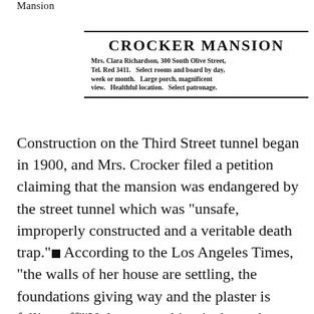Mansion
[Figure (other): Newspaper advertisement clipping for Crocker Mansion. Text: CROCKER MANSION. Mrs. Clara Richardson, 300 South Olive Street, Tel. Red 3411. Select rooms and board by day, week or month. Large porch, magnificent view. Healthful location. Select patronage.]
Construction on the Third Street tunnel began in 1900, and Mrs. Crocker filed a petition claiming that the mansion was endangered by the street tunnel which was “unsafe, improperly constructed and a veritable death trap.” ■ According to the Los Angeles Times, “the walls of her house are settling, the foundations giving way and the plaster is falling off”¦Unless something is done, the building is liable to topple into a hole.” ■ The house never did topple and was alive and well